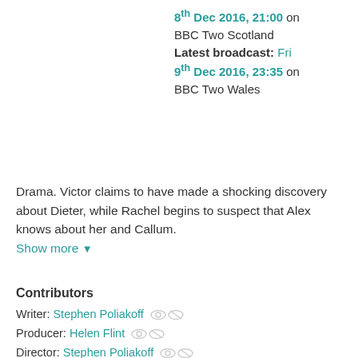8th Dec 2016, 21:00 on BBC Two Scotland
Latest broadcast: Fri 9th Dec 2016, 23:35 on BBC Two Wales
Drama. Victor claims to have made a shocking discovery about Dieter, while Rachel begins to suspect that Alex knows about her and Callum.
Show more
Contributors
Writer: Stephen Poliakoff
Producer: Helen Flint
Director: Stephen Poliakoff
Callum Ferguson: Jim Sturgess
Victor Ferguson: Freddie Highmore
Rachel Lombard: Charlotte Riley
Kathy Griffiths: Phoebe Fox
Dieter Koehler: ...